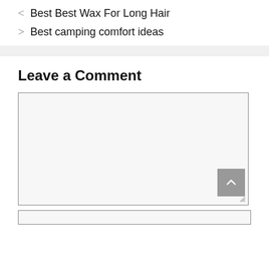< Best Best Wax For Long Hair
> Best camping comfort ideas
Leave a Comment